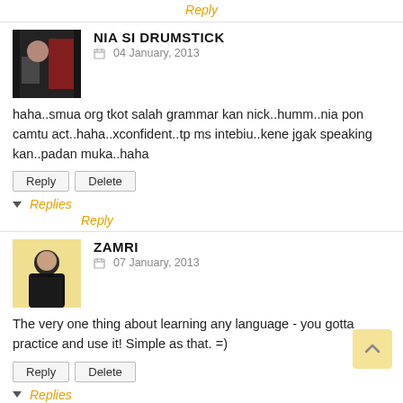Reply
NIA SI DRUMSTICK
04 January, 2013
haha..smua org tkot salah grammar kan nick..humm..nia pon camtu act..haha..xconfident..tp ms intebiu..kene jgak speaking kan..padan muka..haha
Reply  Delete
▼ Replies
Reply
ZAMRI
07 January, 2013
The very one thing about learning any language - you gotta practice and use it! Simple as that. =)
Reply  Delete
▼ Replies
Reply
YULIANA WAHIT
10 January, 2013